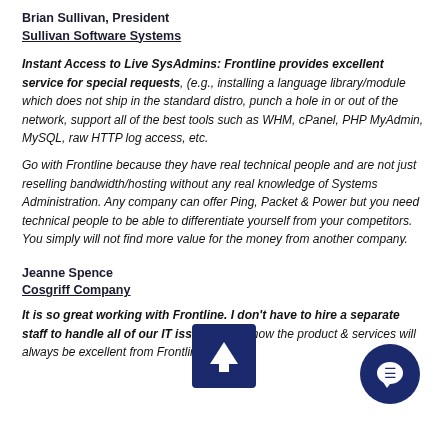Brian Sullivan, President
Sullivan Software Systems
Instant Access to Live SysAdmins: Frontline provides excellent service for special requests, (e.g., installing a language library/module which does not ship in the standard distro, punch a hole in or out of the network, support all of the best tools such as WHM, cPanel, PHP MyAdmin, MySQL, raw HTTP log access, etc.
Go with Frontline because they have real technical people and are not just reselling bandwidth/hosting without any real knowledge of Systems Administration. Any company can offer Ping, Packet & Power but you need technical people to be able to differentiate yourself from your competitors. You simply will not find more value for the money from another company.
Jeanne Spence
Cosgriff Company
It is so great working with Frontline. I don't have to hire a separate staff to handle all of our IT issues and I know the product & services will always be excellent from Frontline!